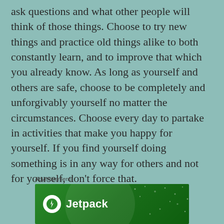ask questions and what other people will think of those things. Choose to try new things and practice old things alike to both constantly learn, and to improve that which you already know. As long as yourself and others are safe, choose to be completely and unforgivably yourself no matter the circumstances. Choose every day to partake in activities that make you happy for yourself. If you find yourself doing something is in any way for others and not for yourself, don't force that.
Advertisements
[Figure (logo): Jetpack advertisement banner with green background, Jetpack logo (white circle with lightning bolt) and bold white 'Jetpack' text]